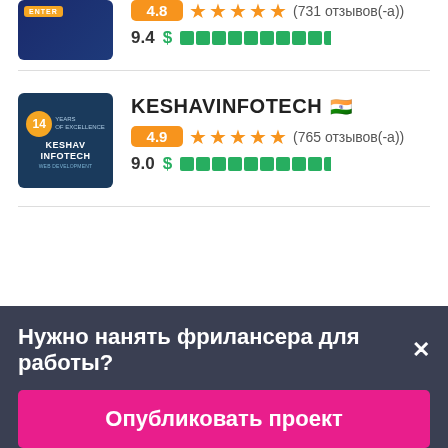[Figure (logo): Blue company logo with 'ENTER' text and gold badge]
4.8 ★★★★★ (731 отзывов(-а))
9.4 $ ██████████
[Figure (logo): KESHAVINFOTECH logo - dark blue with 14 years badge]
KESHAVINFOTECH 🇮🇳
4.9 ★★★★★ (765 отзывов(-а))
9.0 $ ██████████
Нужно нанять фрилансера для работы?✕
Опубликовать проект